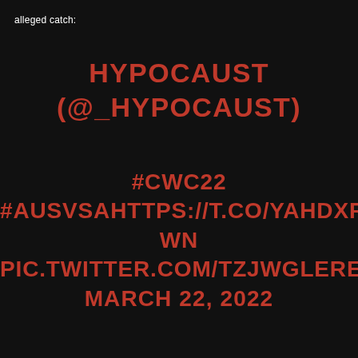alleged catch:
HYPOCAUST (@_HYPOCAUST)
#CWC22 #AUSVSAHTTPS://T.CO/YAHDXRBVWN PIC.TWITTER.COM/TZJWGLERET
MARCH 22, 2022